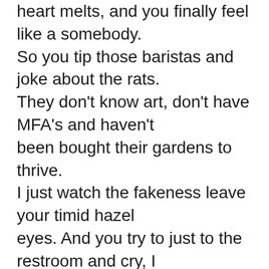heart melts, and you finally feel like a somebody. So you tip those baristas and joke about the rats. They don't know art, don't have MFA's and haven't been bought their gardens to thrive.
I just watch the fakeness leave your timid hazel eyes. And you try to just to the restroom and cry, I hear you in there weeping like a saturnine coyote.

There are a couple of genuine fools, walking around pretending to be the rules of cool.
They folded under the pressures of rebellion, but they are beginning to wonder my darling.
They are wondering exactly how many canvases you have put your brush to.   Since you tell them all